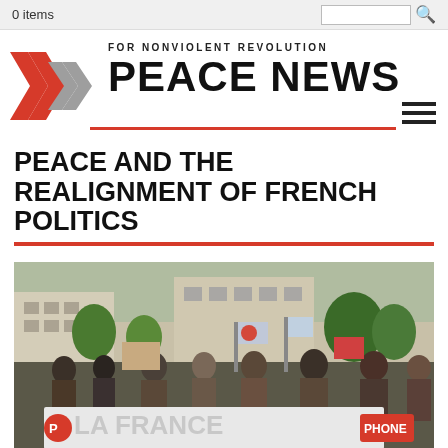0 items
[Figure (logo): Peace News logo with double chevron arrows in red and grey, text FOR NONVIOLENT REVOLUTION above PEACE NEWS in bold black, red horizontal line beneath]
PEACE AND THE REALIGNMENT OF FRENCH POLITICS
[Figure (photo): A street protest march in France with people carrying a large banner reading LA FRANCE and signs/flags, in an urban setting with trees and buildings]